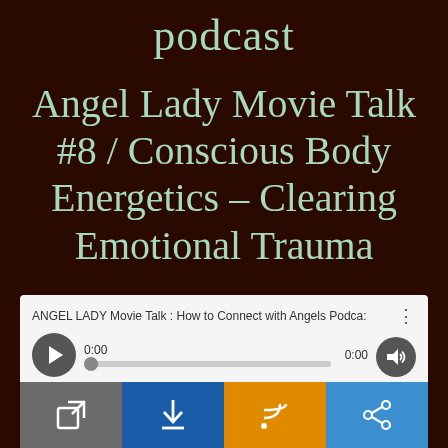podcast
Angel Lady Movie Talk #8 / Conscious Body Energetics – Clearing Emotional Trauma
[Figure (screenshot): Audio player widget showing 'ANGEL LADY Movie Talk : How to Connect with Angels Podca:' with play button, progress bar at 0:00, and volume control]
[Figure (infographic): Four footer buttons: gray external link icon, blue download icon, orange RSS/feed icon, light blue share icon]